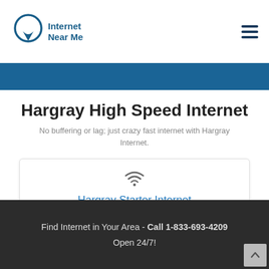Internet Near Me
Hargray High Speed Internet
No buffering or lag; just crazy fast internet with Hargray Internet.
Hargray Starter Internet
Find Internet in Your Area - Call 1-833-693-4209 Open 24/7!